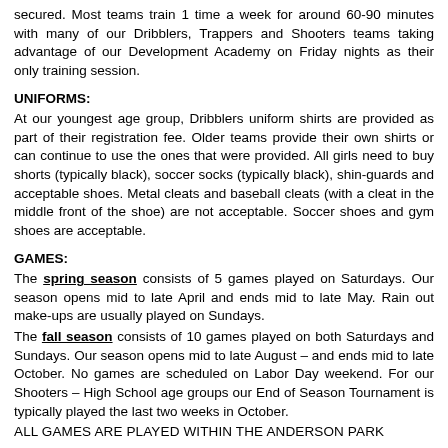secured. Most teams train 1 time a week for around 60-90 minutes with many of our Dribblers, Trappers and Shooters teams taking advantage of our Development Academy on Friday nights as their only training session.
UNIFORMS:
At our youngest age group, Dribblers uniform shirts are provided as part of their registration fee. Older teams provide their own shirts or can continue to use the ones that were provided. All girls need to buy shorts (typically black), soccer socks (typically black), shin-guards and acceptable shoes. Metal cleats and baseball cleats (with a cleat in the middle front of the shoe) are not acceptable. Soccer shoes and gym shoes are acceptable.
GAMES:
The spring season consists of 5 games played on Saturdays. Our season opens mid to late April and ends mid to late May. Rain out make-ups are usually played on Sundays.
The fall season consists of 10 games played on both Saturdays and Sundays. Our season opens mid to late August – and ends mid to late October. No games are scheduled on Labor Day weekend. For our Shooters – High School age groups our End of Season Tournament is typically played the last two weeks in October.
ALL GAMES ARE PLAYED WITHIN THE ANDERSON PARK